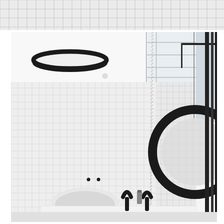[Figure (photo): Top strip: close-up of white square mosaic tiles with thin dark grout lines, shown at an angle]
[Figure (photo): Main interior design photograph of a modern minimalist bathroom: white square mosaic tile walls, a large round black-framed ceiling light fixture, a round black-framed mirror on the right wall, a white oval basin/sink at the bottom, black tap faucets, a hanging chain-style shower, skylight windows on upper right, and vertical black metal framing elements on the far right]